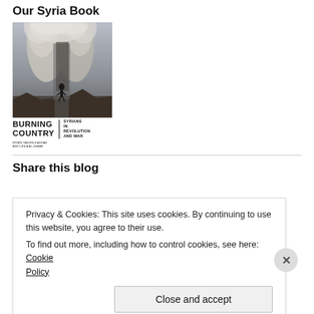Our Syria Book
[Figure (photo): Book cover image showing a person silhouetted against a large cloud of smoke and dust from an explosion or destruction in Syria. Below the photo is the book title 'BURNING COUNTRY: SYRIANS IN REVOLUTION AND WAR' with authors listed.]
Share this blog
Privacy & Cookies: This site uses cookies. By continuing to use this website, you agree to their use.
To find out more, including how to control cookies, see here: Cookie Policy
Close and accept